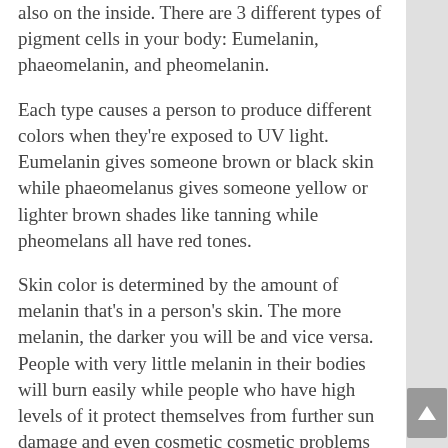also on the inside. There are 3 different types of pigment cells in your body: Eumelanin, phaeomelanin, and pheomelanin.
Each type causes a person to produce different colors when they're exposed to UV light. Eumelanin gives someone brown or black skin while phaeomelanus gives someone yellow or lighter brown shades like tanning while pheomelans all have red tones.
Skin color is determined by the amount of melanin that's in a person's skin. The more melanin, the darker you will be and vice versa. People with very little melanin in their bodies will burn easily while people who have high levels of it protect themselves from further sun damage and even cosmetic cosmetic problems like freckles and age spots.